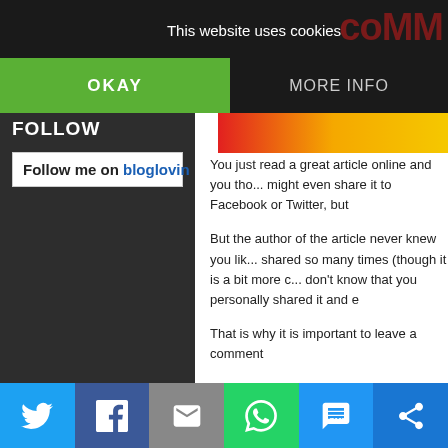This website uses cookies
OKAY
MORE INFO
FOLLOW
Follow me on bloglovin
You just read a great article online and you thought you might even share it to Facebook or Twitter, but
But the author of the article never knew you liked it... shared so many times (though it is a bit more c... don't know that you personally shared it and e
That is why it is important to leave a comment
You might not think that leaving a "great article" comment is important or even worth the effort. However, I can tell you as a writer there is noth that puts a smile on my face faster than seeing